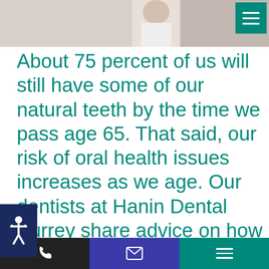[Figure (photo): Partial view of a dental professional in white coat, top portion of page image header]
About 75 percent of us will still have some of our natural teeth by the time we pass age 65. That said, our risk of oral health issues increases as we age. Our dentists at Hanin Dental Surrey share advice on how to keep your teeth healthy as you enter your senior years.
One fact of getting older is that our risks of facing oral health-related diseases and disorders